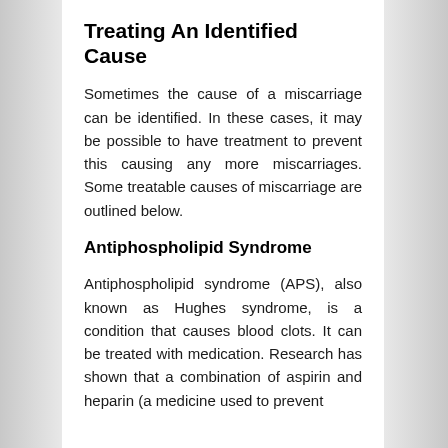Treating An Identified Cause
Sometimes the cause of a miscarriage can be identified. In these cases, it may be possible to have treatment to prevent this causing any more miscarriages. Some treatable causes of miscarriage are outlined below.
Antiphospholipid Syndrome
Antiphospholipid syndrome (APS), also known as Hughes syndrome, is a condition that causes blood clots. It can be treated with medication. Research has shown that a combination of aspirin and heparin (a medicine used to prevent